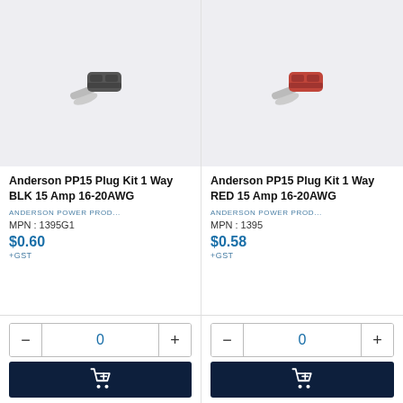[Figure (photo): Anderson PP15 black plug connector on light grey background]
Anderson PP15 Plug Kit 1 Way BLK 15 Amp 16-20AWG
ANDERSON POWER PROD...
MPN : 1395G1
$0.60
+GST
[Figure (photo): Anderson PP15 red plug connector on light grey background]
Anderson PP15 Plug Kit 1 Way RED 15 Amp 16-20AWG
ANDERSON POWER PROD...
MPN : 1395
$0.58
+GST